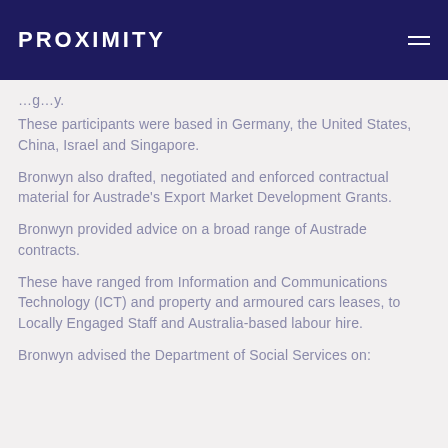PROXIMITY
…g…y.
These participants were based in Germany, the United States, China, Israel and Singapore.
Bronwyn also drafted, negotiated and enforced contractual material for Austrade's Export Market Development Grants.
Bronwyn provided advice on a broad range of Austrade contracts.
These have ranged from Information and Communications Technology (ICT) and property and armoured cars leases, to Locally Engaged Staff and Australia-based labour hire.
Bronwyn advised the Department of Social Services on: